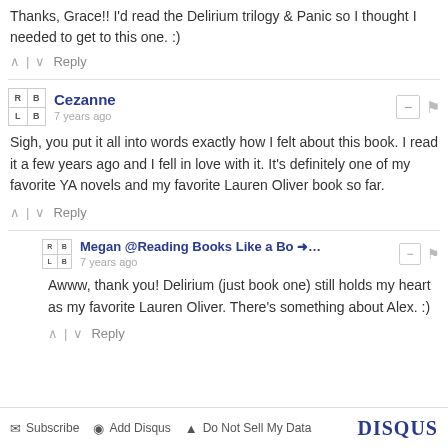Thanks, Grace!! I'd read the Delirium trilogy & Panic so I thought I needed to get to this one. :)
^ | v Reply
Cezanne • 7 years ago
Sigh, you put it all into words exactly how I felt about this book. I read it a few years ago and I fell in love with it. It's definitely one of my favorite YA novels and my favorite Lauren Oliver book so far.
^ | v Reply
Megan @Reading Books Like a Bo → • 7 years ago
Awww, thank you! Delirium (just book one) still holds my heart as my favorite Lauren Oliver. There's something about Alex. :)
^ | v Reply
Subscribe  Add Disqus  Do Not Sell My Data  DISQUS